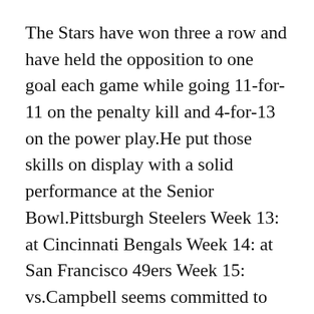The Stars have won three a row and have held the opposition to one goal each game while going 11-for-11 on the penalty kill and 4-for-13 on the power play.He put those skills on display with a solid performance at the Senior Bowl.Pittsburgh Steelers Week 13: at Cincinnati Bengals Week 14: at San Francisco 49ers Week 15: vs.Campbell seems committed to pulling every lever to make the temporary appointment he was given a permanent one.
Take cornerback Demonte Hurst, for example.but also enjoy playing the game.He could also be flipped to outside linebacker to fill the void of free-agent Keith Bulluck.Woods hit just 7 of 14 fairways as he returned to one